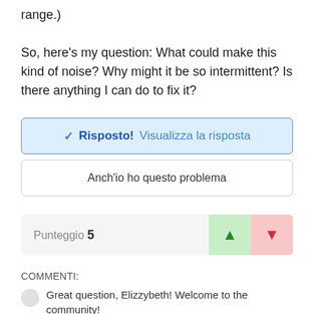range.)
So, here's my question: What could make this kind of noise? Why might it be so intermittent? Is there anything I can do to fix it?
✓ Risposto!  Visualizza la risposta
Anch'io ho questo problema
Punteggio 5
COMMENTI:
Great question, Elizzybeth! Welcome to the community!